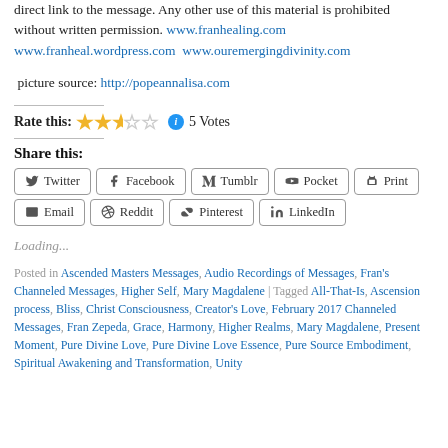direct link to the message. Any other use of this material is prohibited without written permission. www.franhealing.com www.franheal.wordpress.com  www.ouremergingdivinity.com
picture source: http://popeannalisa.com
Rate this: ★★½☆☆ ℹ 5 Votes
Share this:
Twitter Facebook Tumblr Pocket Print Email Reddit Pinterest LinkedIn
Loading...
Posted in Ascended Masters Messages, Audio Recordings of Messages, Fran's Channeled Messages, Higher Self, Mary Magdalene | Tagged All-That-Is, Ascension process, Bliss, Christ Consciousness, Creator's Love, February 2017 Channeled Messages, Fran Zepeda, Grace, Harmony, Higher Realms, Mary Magdalene, Present Moment, Pure Divine Love, Pure Divine Love Essence, Pure Source Embodiment, Spiritual Awakening and Transformation, Unity...